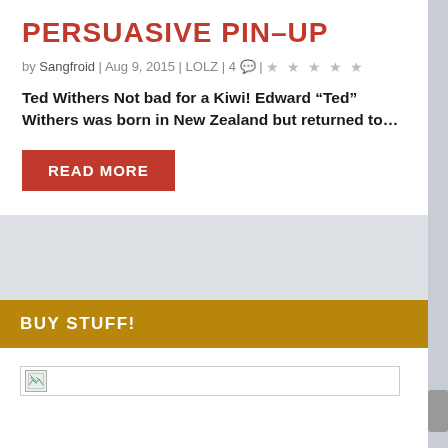PERSUASIVE PIN-UP
by Sangfroid | Aug 9, 2015 | LOLZ | 4 💬 | ★★★★★
Ted Withers Not bad for a Kiwi! Edward "Ted" Withers was born in New Zealand but returned to...
READ MORE
BUY STUFF!
[Figure (other): Broken/missing image placeholder in a white box with border]